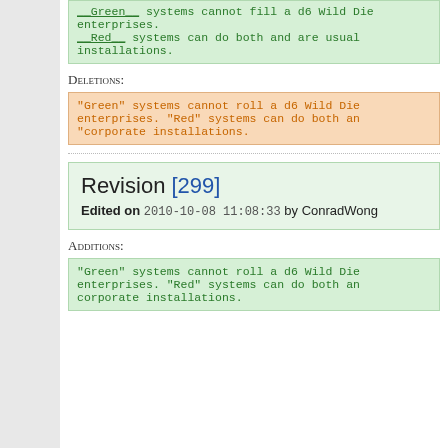__Green__ systems cannot fill a d6 Wild Die enterprises. __Red__ systems can do both and are usually corporate installations.
Deletions:
"Green" systems cannot roll a d6 Wild Die enterprises. "Red" systems can do both and corporate installations.
Revision [299]
Edited on 2010-10-08 11:08:33 by ConradWong
Additions:
"Green" systems cannot roll a d6 Wild Die enterprises. "Red" systems can do both and corporate installations.